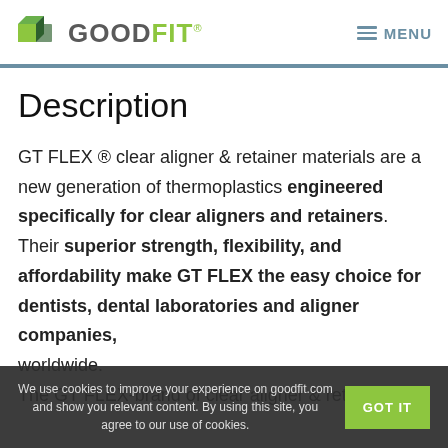GOODFIT® MENU
Description
GT FLEX ® clear aligner & retainer materials are a new generation of thermoplastics engineered specifically for clear aligners and retainers. Their superior strength, flexibility, and affordability make GT FLEX the easy choice for dentists, dental laboratories and aligner companies, worldwide. The GT FLEX-brand of clear aligner & retainer
We use cookies to improve your experience on goodfit.com and show you relevant content. By using this site, you agree to our use of cookies. GOT IT